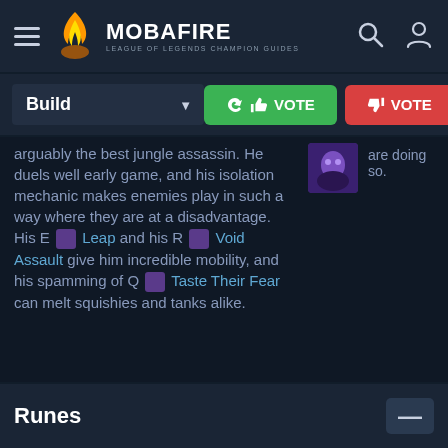MOBAFIRE — LEAGUE OF LEGENDS CHAMPION GUIDES
Build ▼
👍 VOTE   👎 VOTE
arguably the best jungle assassin. He duels well early game, and his isolation mechanic makes enemies play in such a way where they are at a disadvantage. His E Leap and his R Void Assault give him incredible mobility, and his spamming of Q Taste Their Fear can melt squishies and tanks alike.
are doing so.
Runes